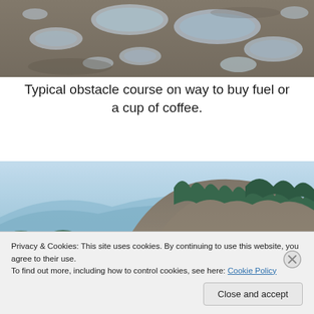[Figure (photo): Top portion of a pothole-filled road or muddy surface with water-filled potholes, viewed from above/ground level.]
Typical obstacle course on way to buy fuel or a cup of coffee.
[Figure (photo): Scenic landscape photo showing a large hill or bluff with coniferous trees on top, a river valley below, and blue-tinted misty mountains in the background.]
Privacy & Cookies: This site uses cookies. By continuing to use this website, you agree to their use.
To find out more, including how to control cookies, see here: Cookie Policy